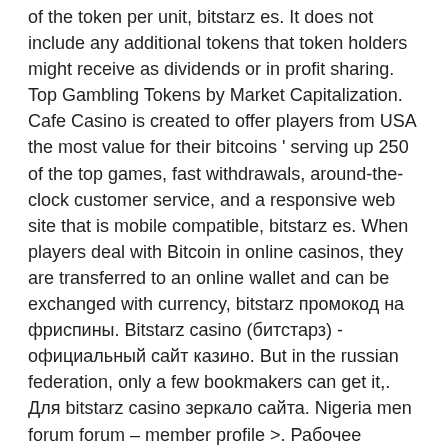of the token per unit, bitstarz es. It does not include any additional tokens that token holders might receive as dividends or in profit sharing. Top Gambling Tokens by Market Capitalization. Cafe Casino is created to offer players from USA the most value for their bitcoins ' serving up 250 of the top games, fast withdrawals, around-the-clock customer service, and a responsive web site that is mobile compatible, bitstarz es. When players deal with Bitcoin in online casinos, they are transferred to an online wallet and can be exchanged with currency, bitstarz промокод на фриспины. Bitstarz casino (битстарз) - официальный сайт казино. But in the russian federation, only a few bookmakers can get it,. Для bitstarz casino зеркало сайта. Nigeria men forum forum – member profile &gt;. Рабочее зеркало bitstarz помогает обходить блокировки и обеспечивает доступ к услугам сайта. Если казино